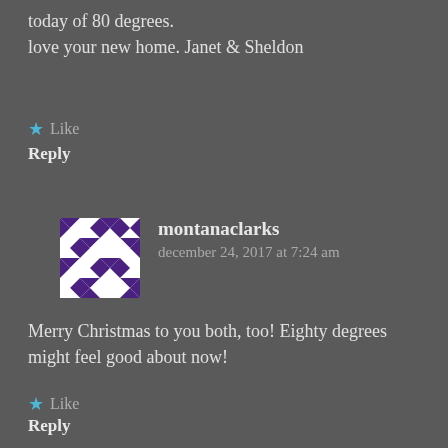today of 80 degrees.
love your new home. Janet & Sheldon
★ Like
Reply
[Figure (illustration): Black and white geometric quilt-pattern avatar for montanaclarks]
montanaclarks
december 24, 2017 at 7:24 am
Merry Christmas to you both, too! Eighty degrees might feel good about now!
★ Like
Reply